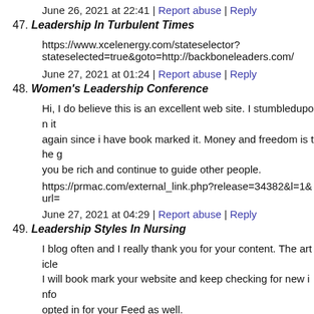June 26, 2021 at 22:41 | Report abuse | Reply
47. Leadership In Turbulent Times
https://www.xcelenergy.com/stateselector?stateselected=true&goto=http://backboneleaders.com/
June 27, 2021 at 01:24 | Report abuse | Reply
48. Women's Leadership Conference
Hi, I do believe this is an excellent web site. I stumbledupon it again since i have book marked it. Money and freedom is the g you be rich and continue to guide other people.
https://prmac.com/external_link.php?release=34382&l=1&url=
June 27, 2021 at 04:29 | Report abuse | Reply
49. Leadership Styles In Nursing
I blog often and I really thank you for your content. The article I will book mark your website and keep checking for new info opted in for your Feed as well.
https://www.roughtrade.com/gb/country?redirect=https://backb
June 27, 2021 at 04:55 | Report abuse | Reply